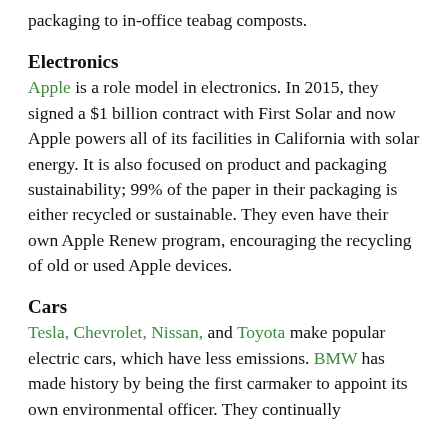packaging to in-office teabag composts.
Electronics
Apple is a role model in electronics. In 2015, they signed a $1 billion contract with First Solar and now Apple powers all of its facilities in California with solar energy. It is also focused on product and packaging sustainability; 99% of the paper in their packaging is either recycled or sustainable. They even have their own Apple Renew program, encouraging the recycling of old or used Apple devices.
Cars
Tesla, Chevrolet, Nissan, and Toyota make popular electric cars, which have less emissions. BMW has made history by being the first carmaker to appoint its own environmental officer. They continually